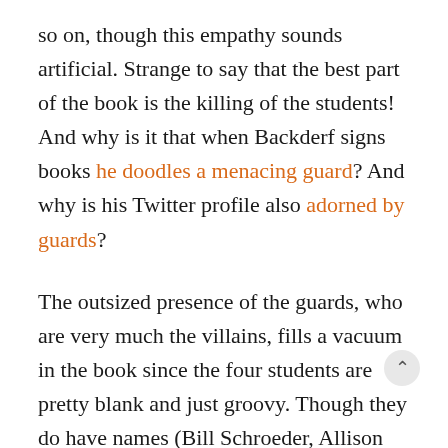so on, though this empathy sounds artificial. Strange to say that the best part of the book is the killing of the students! And why is it that when Backderf signs books he doodles a menacing guard? And why is his Twitter profile also adorned by guards?
The outsized presence of the guards, who are very much the villains, fills a vacuum in the book since the four students are pretty blank and just groovy. Though they do have names (Bill Schroeder, Allison Krause, Sandy Scheuer, Jeff Miller), their individual faces promise nothing. They are not intimate images like R.